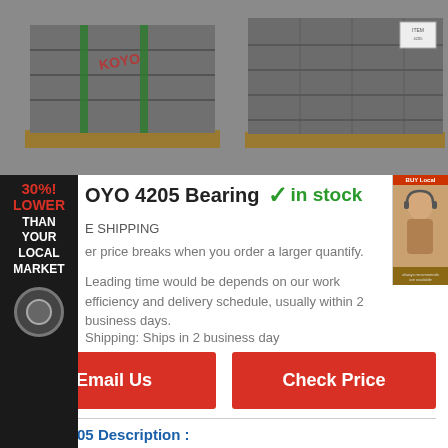[Figure (photo): Warehouse pallets wrapped in gray plastic film]
KOYO 4205 Bearing ✓in stock
FREE SHIPPING
Lower price breaks when you order a larger quantify.
Leading time would be depends on our work efficiency and delivery schedule, usually within 2 business days.
Shipping: Ships in 2 business day
Email Us
Check Price
KOYO 4205 Description :